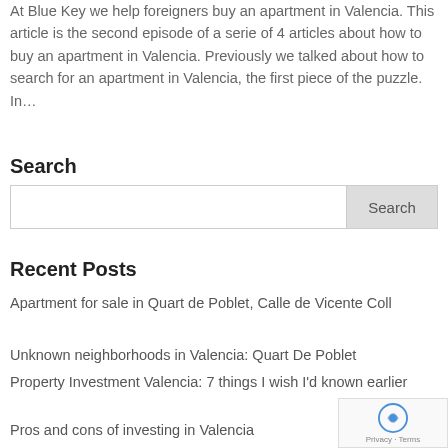At Blue Key we help foreigners buy an apartment in Valencia. This article is the second episode of a serie of 4 articles about how to buy an apartment in Valencia. Previously we talked about how to search for an apartment in Valencia, the first piece of the puzzle. In…
Search
Search
Recent Posts
Apartment for sale in Quart de Poblet, Calle de Vicente Coll
Unknown neighborhoods in Valencia: Quart De Poblet
Property Investment Valencia: 7 things I wish I'd known earlier
Pros and cons of investing in Valencia